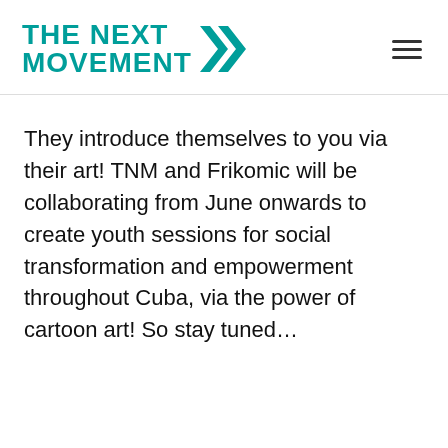THE NEXT MOVEMENT
They introduce themselves to you via their art! TNM and Frikomic will be collaborating from June onwards to create youth sessions for social transformation and empowerment throughout Cuba, via the power of cartoon art! So stay tuned…